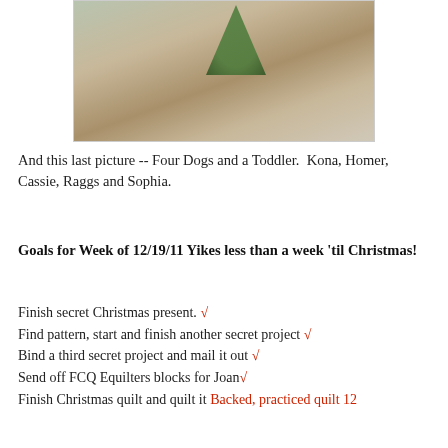[Figure (photo): Photo of four dogs and a toddler in front of a Christmas tree. Dogs include a black and white dog, a golden retriever, a yellow lab with a green bandana, and a black dog with a green bandana. A toddler sits to the right.]
And this last picture -- Four Dogs and a Toddler.  Kona, Homer, Cassie, Raggs and Sophia.
Goals for Week of 12/19/11 Yikes less than a week 'til Christmas!
Finish secret Christmas present. ✓
Find pattern, start and finish another secret project ✓
Bind a third secret project and mail it out ✓
Send off FCQ Equilters blocks for Joan✓
Finish Christmas quilt and quilt it 12